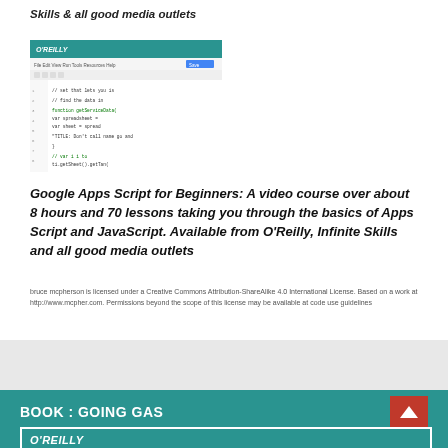Skills & all good media outlets
[Figure (screenshot): O'Reilly code editor screenshot showing Google Apps Script code in a browser window]
Google Apps Script for Beginners: A video course over about 8 hours and 70 lessons taking you through the basics of Apps Script and JavaScript. Available from O'Reilly, Infinite Skills and all good media outlets
bruce mcpherson is licensed under a Creative Commons Attribution-ShareAlike 4.0 International License. Based on a work at http://www.mcpher.com. Permissions beyond the scope of this license may be available at code use guidelines
BOOK : GOING GAS